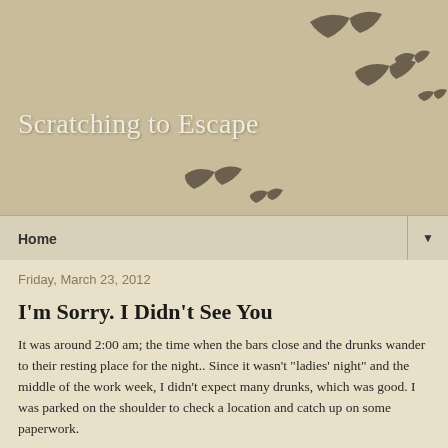Scratching to Escape
Home
Friday, March 23, 2012
I'm Sorry. I Didn't See You
It was around 2:00 am; the time when the bars close and the drunks wander to their resting place for the night.. Since it wasn't "ladies' night" and the middle of the work week, I didn't expect many drunks, which was good. I was parked on the shoulder to check a location and catch up on some paperwork.
We were building "mow strips" around the posts on guardrail. This involved excavating the dirt, placing forms, placing reinforcement steel and pouring 4 inches of concrete. The end result was a section of the highway that